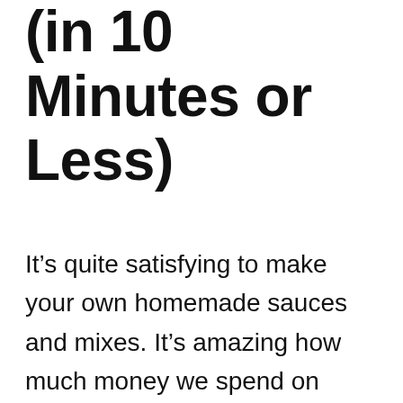(in 10 Minutes or Less)
It’s quite satisfying to make your own homemade sauces and mixes. It’s amazing how much money we spend on store bought sauces, not realizing that we can often make the same sauces at home with ingredients we probably already have on hand.